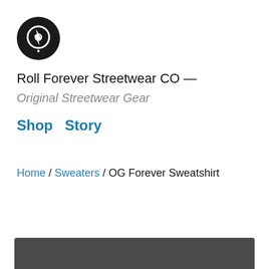[Figure (logo): Roll Forever Streetwear CO circular logo — black circle with stylized white skate wheel and bolt icon]
Roll Forever Streetwear CO —
Original Streetwear Gear
Shop  Story
Home / Sweaters / OG Forever Sweatshirt
[Figure (photo): Dark grey/charcoal product image bar at the bottom of the page]